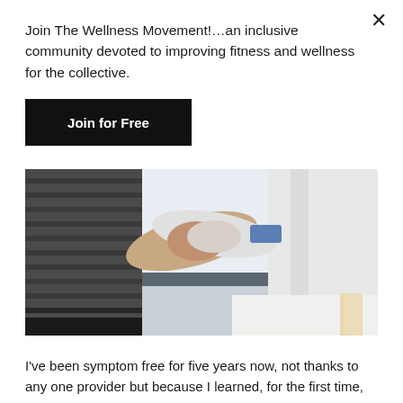×
Join The Wellness Movement!…an inclusive community devoted to improving fitness and wellness for the collective.
Join for Free
[Figure (photo): Two people shaking hands — one wearing a striped long-sleeve top and one wearing a white lab coat, in an office setting with large windows in the background.]
I've been symptom free for five years now, not thanks to any one provider but because I learned, for the first time, how to